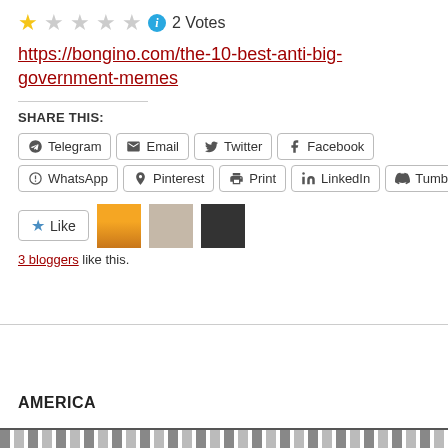★ ☆ ☆ ☆ ☆  ℹ  2 Votes
https://bongino.com/the-10-best-anti-big-government-memes
SHARE THIS:
Telegram  Email  Twitter  Facebook  WhatsApp  Pinterest  Print  LinkedIn  Tumblr
Like  3 bloggers like this.
AMERICA